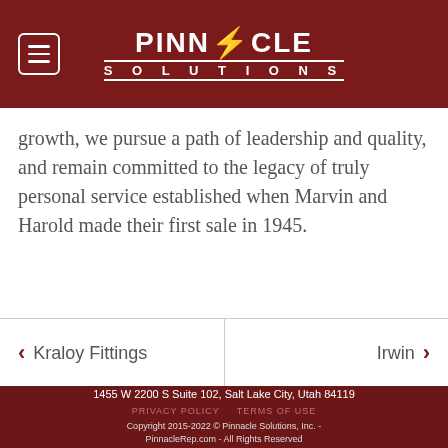Pinnacle Solutions
growth, we pursue a path of leadership and quality, and remain committed to the legacy of truly personal service established when Marvin and Harold made their first sale in 1945.
< Kraloy Fittings   Irwin >
1455 W 2200 S Suite 102, Salt Lake City, Utah 84119
PRIVACY POLICY   TERMS OF USE
Copyright 2015-2022 © Pinnacle Solutions, Inc. - PinnacleRep.com - All Rights Reserved